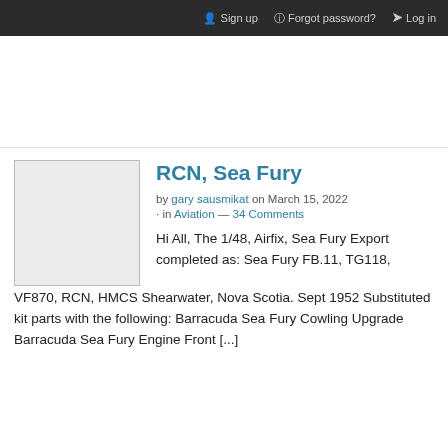Sign up   Forgot password?   Log in
[Figure (other): Advertisement/blank area]
RCN, Sea Fury
by gary sausmikat on March 15, 2022
· in Aviation — 34 Comments
[Figure (photo): Post thumbnail image placeholder (light gray box)]
Hi All, The 1/48, Airfix, Sea Fury Export completed as: Sea Fury FB.11, TG118, VF870, RCN, HMCS Shearwater, Nova Scotia. Sept 1952 Substituted kit parts with the following: Barracuda Sea Fury Cowling Upgrade Barracuda Sea Fury Engine Front [...]